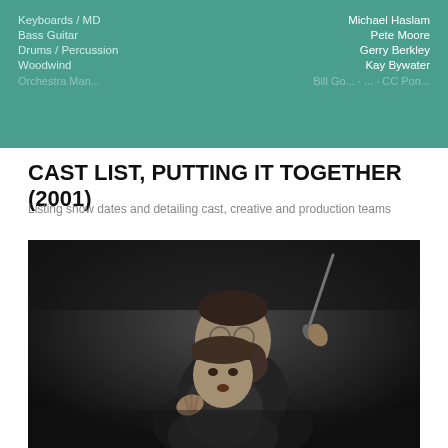Keyboards / MD  Michael Haslam
Bass Guitar  Pete Moore
Drums / Percussion  Gerry Berkley
Woodwind  Kay Bywater
CAST LIST, PUTTING IT TOGETHER (2001)
Listing show dates and detailing cast, creative and production teams
[Figure (photo): Black and white photograph of two people: a bearded man with glasses smiling, and a woman with a short fringe hairstyle in front of him, both posed theatrically. The man holds what appears to be a conductor's baton raised in his right hand, and the woman has her fingers crossed.]